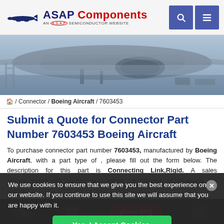[Figure (logo): ASAP Components logo with airplane silhouette, 'AN A.S.A.P SEMICONDUCTOR WEBSITE' subtitle, search and menu buttons]
[Figure (photo): Hero banner photo of airplane on tarmac with ground equipment]
/ Connector / Boeing Aircraft / 7603453
Submit a Quote for Connector Part Number 7603453 Boeing Aircraft
To purchase connector part number 7603453, manufactured by Boeing Aircraft, with a part type of , please fill out the form below. The description for this part is Connecting Link,Rigid. A sales representative will contact you within 15 minutes of receiving the request.
Part Number 7603453 Specification
We use cookies to ensure that we give you the best experience on our website. If you continue to use this site we will assume that you are happy with it.